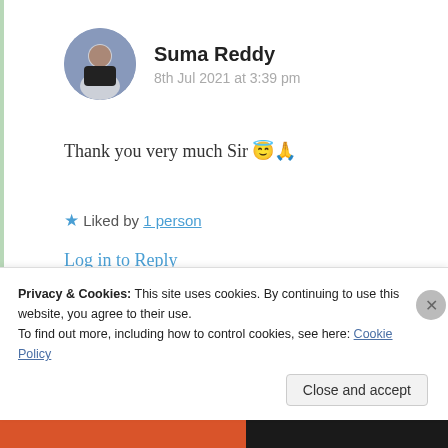Suma Reddy
8th Jul 2021 at 3:39 pm
Thank you very much Sir 😇🙏
★ Liked by 1 person
Log in to Reply
haoyando
Privacy & Cookies: This site uses cookies. By continuing to use this website, you agree to their use.
To find out more, including how to control cookies, see here: Cookie Policy
Close and accept